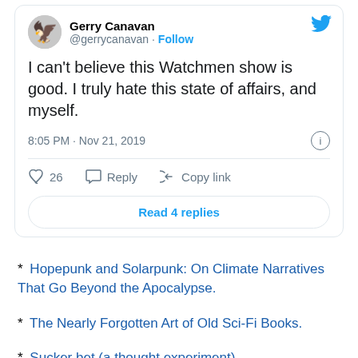[Figure (screenshot): Tweet from @gerrycanavan: 'I can't believe this Watchmen show is good. I truly hate this state of affairs, and myself.' Posted at 8:05 PM · Nov 21, 2019. 26 likes. Reply and Copy link options. Read 4 replies button.]
* Hopepunk and Solarpunk: On Climate Narratives That Go Beyond the Apocalypse.
* The Nearly Forgotten Art of Old Sci-Fi Books.
* Sucker bet (a thought experiment).